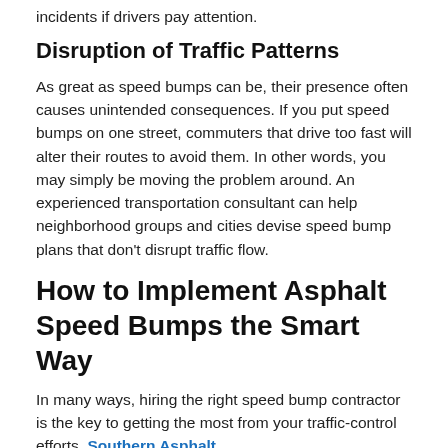incidents if drivers pay attention.
Disruption of Traffic Patterns
As great as speed bumps can be, their presence often causes unintended consequences. If you put speed bumps on one street, commuters that drive too fast will alter their routes to avoid them. In other words, you may simply be moving the problem around. An experienced transportation consultant can help neighborhood groups and cities devise speed bump plans that don't disrupt traffic flow.
How to Implement Asphalt Speed Bumps the Smart Way
In many ways, hiring the right speed bump contractor is the key to getting the most from your traffic-control efforts. Southern Asphalt Engineering is an experienced installer of…